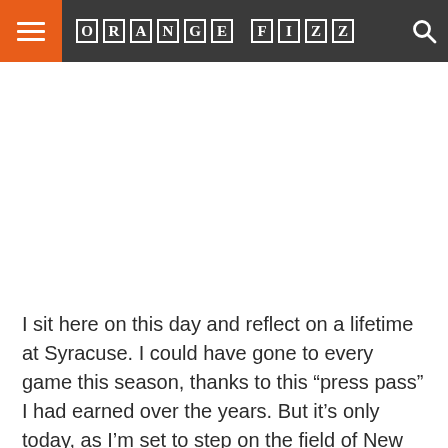ORANGE FIZZ
I sit here on this day and reflect on a lifetime at Syracuse. I could have gone to every game this season, thanks to this “press pass” I had earned over the years. But it’s only today, as I’m set to step on the field of New Yankee Stadium, that I